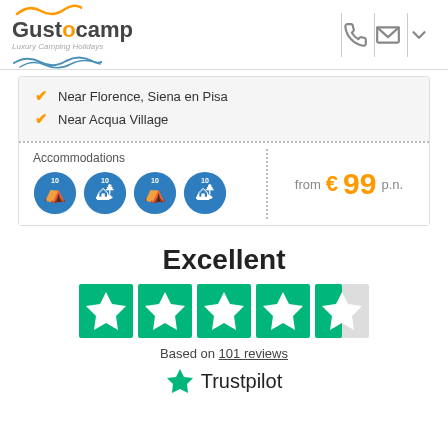[Figure (logo): Gustocamp Luxury Camping Holidays logo with orange wave icon and blue wave decoration]
Near Florence, Siena en Pisa
Near Acqua Village
Accommodations
[Figure (illustration): Four blue camping accommodation icons]
from € 99 p.n.
Excellent
[Figure (illustration): Trustpilot 5-star rating with 4.5 stars shown in green]
Based on 101 reviews
[Figure (logo): Trustpilot logo with green star icon]